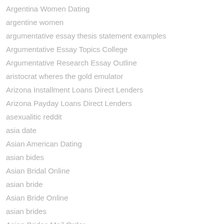Argentina Women Dating
argentine women
argumentative essay thesis statement examples
Argumentative Essay Topics College
Argumentative Research Essay Outline
aristocrat wheres the gold emulator
Arizona Installment Loans Direct Lenders
Arizona Payday Loans Direct Lenders
asexualitic reddit
asia date
Asian American Dating
asian bides
Asian Bridal Online
asian bride
Asian Bride Online
asian brides
Asian Brides Mail Order
Asian Brids